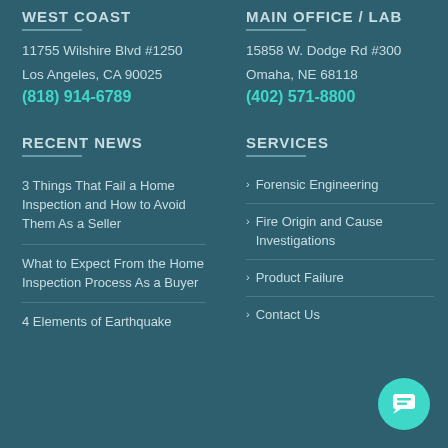WEST COAST
11755 Wilshire Blvd #1250
Los Angeles, CA 90025
(818) 914-6789
MAIN OFFICE / LAB
15858 W. Dodge Rd #300
Omaha, NE 68118
(402) 571-8800
RECENT NEWS
SERVICES
3 Things That Fail a Home Inspection and How to Avoid Them As a Seller
Forensic Engineering
Fire Origin and Cause Investigations
What to Expect From the Home Inspection Process As a Buyer
Product Failure
Contact Us
4 Elements of Earthquake